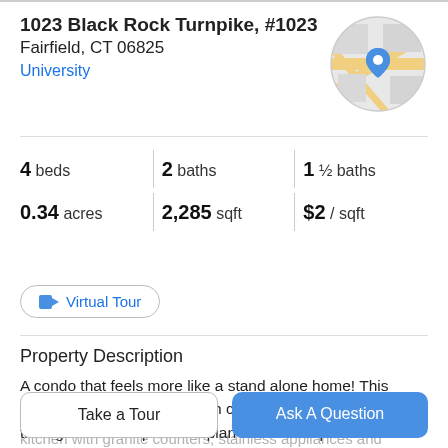1023 Black Rock Turnpike, #1023
Fairfield, CT 06825
University
[Figure (map): Circular map thumbnail with a blue location pin marker on a street map background]
4 beds   2 baths   1 ½ baths
0.34 acres   2,285 sqft   $2 / sqft
Virtual Tour
Property Description
A condo that feels more like a stand alone home! This Colonial/Townhouse has high ceilings and hardwood floors throughout. The open floor plan leads to a spacious eat in
kitchen with granite counters, stainless appliances and
Take a Tour
Ask A Question